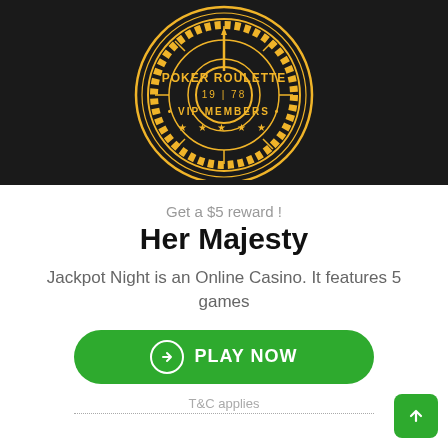[Figure (logo): Poker Roulette VIP Members logo — circular badge in yellow/gold on black background, featuring a roulette wheel design. Text reads: POKER ROULETTE, 19|78, VIP MEMBERS, with stars below.]
Get a $5 reward !
Her Majesty
Jackpot Night is an Online Casino. It features 5 games
PLAY NOW
T&C applies